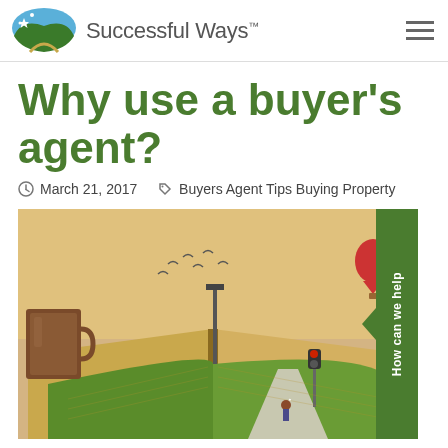Successful Ways™
Why use a buyer's agent?
March 21, 2017  Buyers Agent Tips Buying Property
[Figure (photo): An open book with a 3D pop-up scene showing a road stretching into the distance with green fields, a traffic light, birds in the sky, a hot air balloon, and a coffee mug on the left side. The scene creates a surreal, illustrative landscape rising from the pages of the book.]